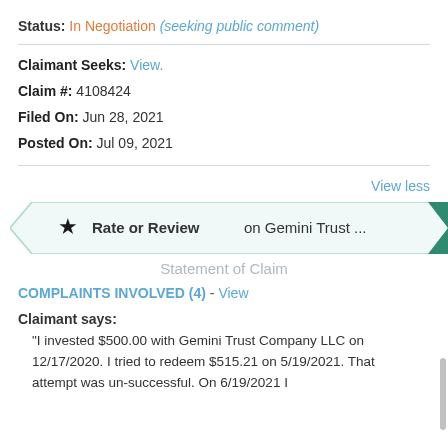Status: In Negotiation (seeking public comment)
Claimant Seeks: View.
Claim #: 4108424
Filed On: Jun 28, 2021
Posted On: Jul 09, 2021
View less
[Figure (infographic): Rate or Review on Gemini Trust ... banner with star icon, chevron arrow shape with teal right arrow]
Statement of Claim
COMPLAINTS INVOLVED (4) - View
Claimant says:
"I invested $500.00 with Gemini Trust Company LLC on 12/17/2020. I tried to redeem $515.21 on 5/19/2021. That attempt was un-successful. On 6/19/2021 I